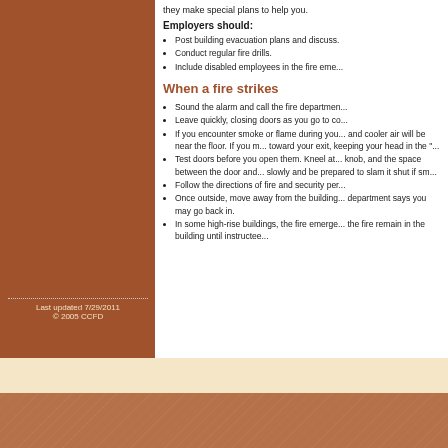they make special plans to help you.
Employers should:
Post building evacuation plans and discuss.
Conduct regular fire drills.
Include disabled employees in the fire eme...
When a fire strikes
Sound the alarm and call the fire departmen...
Leave quickly, closing doors as you go to co...
If you encounter smoke or flame during you... and cooler air will be near the floor. If you m... toward your exit, keeping your head in the "...
Test doors before you open them. Kneel at... knob, and the space between the door and... slowly and be prepared to slam it shut if sm...
Follow the directions of fire and security per...
Once outside, move away from the building... department says you may go back in.
In some high-rise buildings, the fire emerge... the fire remain in the building until instructee...
Last updated 7/29/2011
© 2005 CCFD